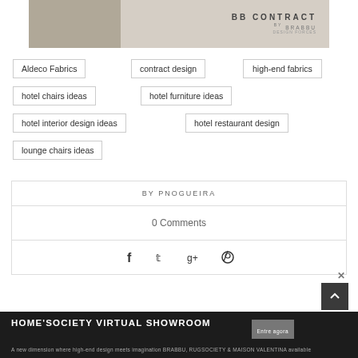[Figure (photo): BB Contract by Brabbu banner with a dark chair on the left and text logo on the right against a light grey background]
Aldeco Fabrics
contract design
high-end fabrics
hotel chairs ideas
hotel furniture ideas
hotel interior design ideas
hotel restaurant design
lounge chairs ideas
BY PNOGUEIRA
0 Comments
[Figure (infographic): Social sharing icons: Facebook, Twitter, Google+, Pinterest]
HOME'SOCIETY VIRTUAL SHOWROOM
A new dimension where high-end design meets imagination BRABBU, RUGSOCIETY & MAISON VALENTINA available